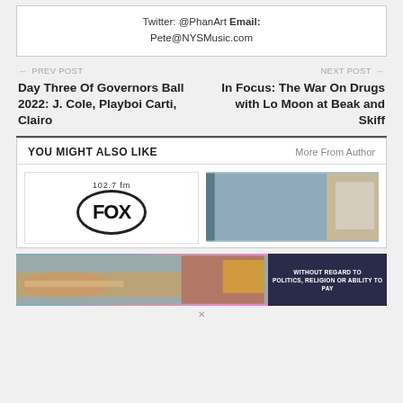Twitter: @PhanArt Email: Pete@NYSMusic.com
← PREV POST
Day Three Of Governors Ball 2022: J. Cole, Playboi Carti, Clairo
NEXT POST →
In Focus: The War On Drugs with Lo Moon at Beak and Skiff
YOU MIGHT ALSO LIKE
More From Author
[Figure (logo): 102.7 fm FOX radio logo in oval]
[Figure (photo): Outdoor storefront photo]
[Figure (photo): Advertisement banner: airplane cargo loading photo with text WITHOUT REGARD TO POLITICS, RELIGION OR ABILITY TO PAY]